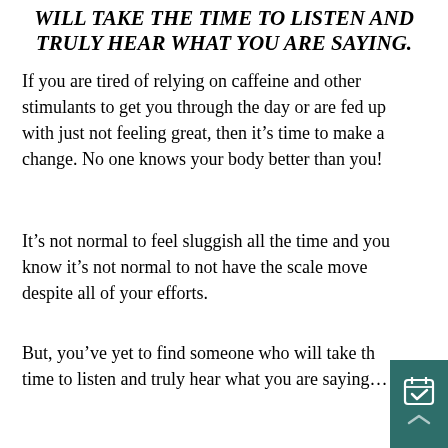WILL TAKE THE TIME TO LISTEN AND TRULY HEAR WHAT YOU ARE SAYING.
If you are tired of relying on caffeine and other stimulants to get you through the day or are fed up with just not feeling great, then it’s time to make a change. No one knows your body better than you!
It’s not normal to feel sluggish all the time and you know it’s not normal to not have the scale move despite all of your efforts.
But, you’ve yet to find someone who will take the time to listen and truly hear what you are saying…